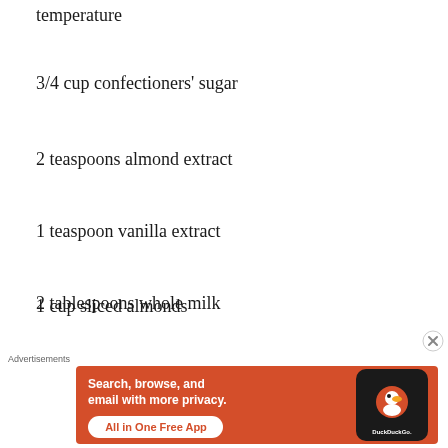temperature
3/4 cup confectioners' sugar
2 teaspoons almond extract
1 teaspoon vanilla extract
2 tablespoons whole milk
1 cup sliced almonds
[Figure (screenshot): DuckDuckGo advertisement banner with orange background, text 'Search, browse, and email with more privacy. All in One Free App', and a phone mockup with DuckDuckGo logo]